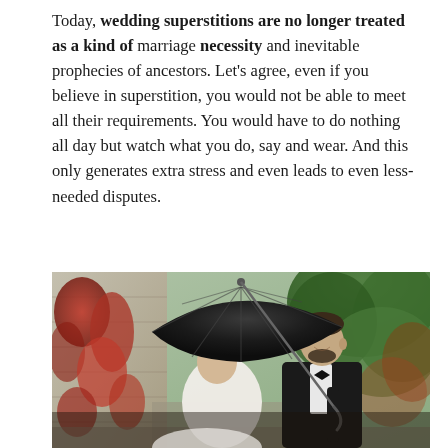Today, wedding superstitions are no longer treated as a kind of marriage necessity and inevitable prophecies of ancestors. Let's agree, even if you believe in superstition, you would not be able to meet all their requirements. You would have to do nothing all day but watch what you do, say and wear. And this only generates extra stress and even leads to even less-needed disputes.
[Figure (photo): A bride and groom standing outdoors under a large open black umbrella. The groom, wearing a black tuxedo with bow tie, holds the umbrella and smiles at the bride, who is dressed in white and has her hair up. The background shows a stone building with red autumn ivy and green trees.]